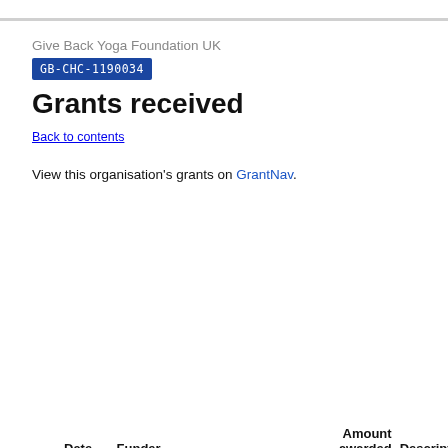Give Back Yoga Foundation UK
GB-CHC-1190034
Grants received
Back to contents
View this organisation's grants on GrantNav.
| Date | Funder |  | Amount awarded | Descript |
| --- | --- | --- | --- | --- |
| 13 Aug 2021 | The National Lottery Community Fund | GB-GOR-PB188 | £10,000 | Yoga for Eating Disorder Recovery |